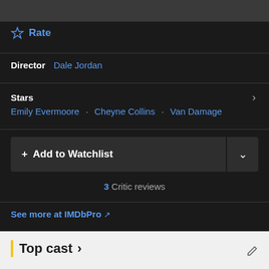[Figure (other): Dark gray rectangle at top, partially cropped image/thumbnail]
☆ Rate
Director  Dale Jordan
Stars
Emily Evermoore · Cheyne Collins · Van Damage
+ Add to Watchlist
3 Critic reviews
See more at IMDbPro ↗
Top cast ›